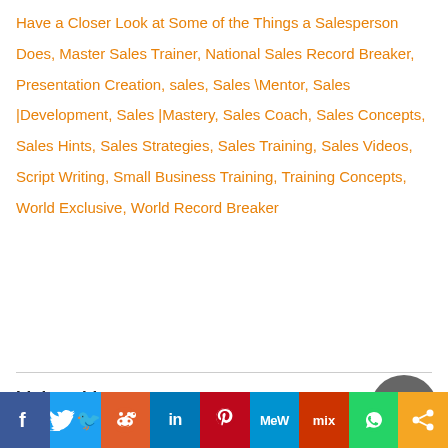Have a Closer Look at Some of the Things a Salesperson Does, Master Sales Trainer, National Sales Record Breaker, Presentation Creation, sales, Sales \Mentor, Sales |Development, Sales |Mastery, Sales Coach, Sales Concepts, Sales Hints, Sales Strategies, Sales Training, Sales Videos, Script Writing, Small Business Training, Training Concepts, World Exclusive, World Record Breaker
Link to this post:
[Figure (infographic): Social sharing bar with icons for Facebook, Twitter, Reddit, LinkedIn, Pinterest, MeWe, Mix, WhatsApp, and a share icon]